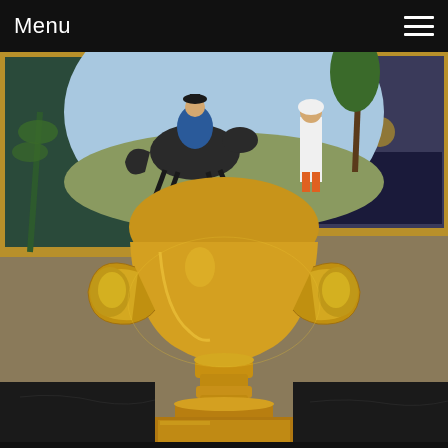Menu
[Figure (photo): A gilded porcelain urn/trophy cup with two ornate gold handles and a pedestal base, displayed on a dark marble surface. The upper portion of the vase features a painted scene of a figure on horseback and a standing figure in Middle Eastern attire. A framed painting is visible in the background along with decorative wall elements.]